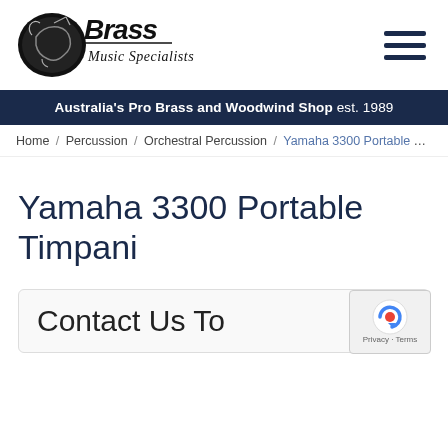[Figure (logo): Brass Music Specialists logo with instrument graphic and cursive text]
Australia's Pro Brass and Woodwind Shop est. 1989
Home / Percussion / Orchestral Percussion / Yamaha 3300 Portable Timpani
Yamaha 3300 Portable Timpani
Contact Us To